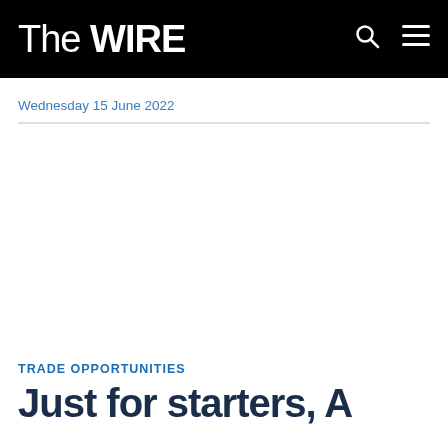The WIRE
Wednesday 15 June 2022
TRADE OPPORTUNITIES
Just for starters, A